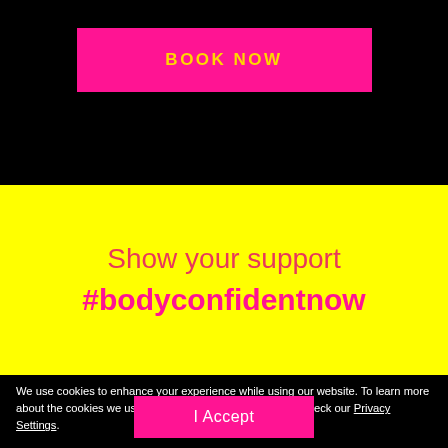BOOK NOW
Show your support
#bodyconfidentnow
We use cookies to enhance your experience while using our website. To learn more about the cookies we use and the data we collect, please check our Privacy Settings.
I Accept